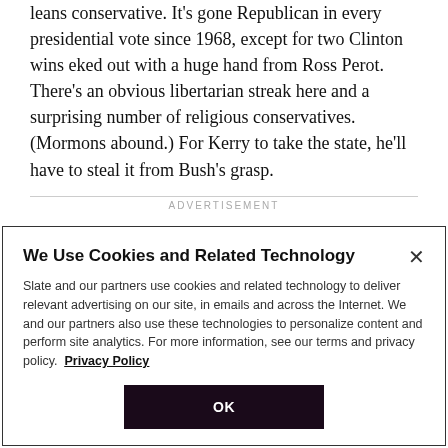leans conservative. It's gone Republican in every presidential vote since 1968, except for two Clinton wins eked out with a huge hand from Ross Perot. There's an obvious libertarian streak here and a surprising number of religious conservatives. (Mormons abound.) For Kerry to take the state, he'll have to steal it from Bush's grasp.
ADVERTISEMENT
We Use Cookies and Related Technology
Slate and our partners use cookies and related technology to deliver relevant advertising on our site, in emails and across the Internet. We and our partners also use these technologies to personalize content and perform site analytics. For more information, see our terms and privacy policy. Privacy Policy
OK